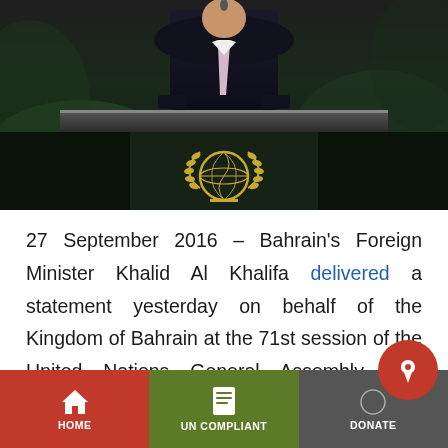[Figure (photo): A diplomat or foreign minister speaking at the United Nations General Assembly podium. The UN emblem (laurel wreath globe) is visible in gold on the dark marble backdrop. The speaker is in a dark suit with a light tie, standing at a microphone.]
27 September 2016 – Bahrain's Foreign Minister Khalid Al Khalifa delivered a statement yesterday on behalf of the Kingdom of Bahrain at the 71st session of the United Nations General Assembly. The undersigned NGOs condemn the Foreign Minister's misleading and unconstructive remarks as the Bahraini government
HOME | UN COMPLIANT | DONATE